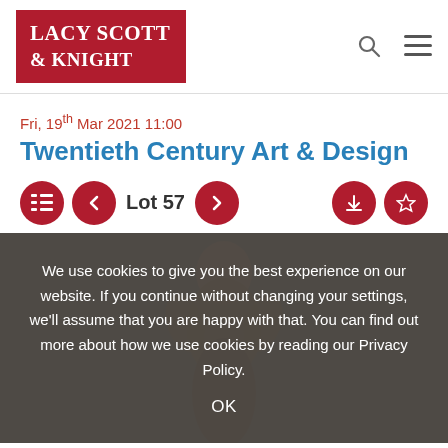[Figure (logo): Lacy Scott & Knight logo — white text on dark red background]
Fri, 19th Mar 2021 11:00
Twentieth Century Art & Design
Lot 57
We use cookies to give you the best experience on our website. If you continue without changing your settings, we'll assume that you are happy with that. You can find out more about how we use cookies by reading our Privacy Policy.
OK
[Figure (photo): Figurine of a person, visible behind cookie consent overlay]